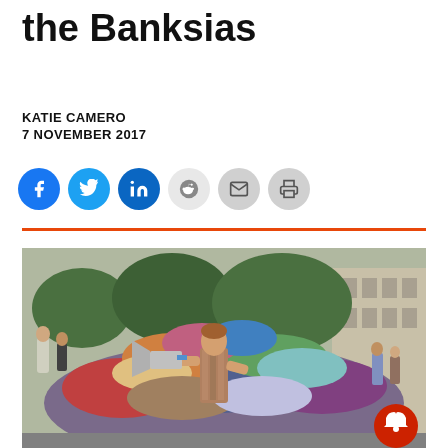the Banksias
KATIE CAMERO
7 NOVEMBER 2017
[Figure (screenshot): Row of social sharing buttons: Facebook (blue), Twitter (blue), LinkedIn (blue), Reddit (light grey), Email (grey), Print (grey)]
[Figure (photo): A man holding a megaphone stands in front of a large pile of discarded clothing on a city street. Pedestrians are visible in the background near a building.]